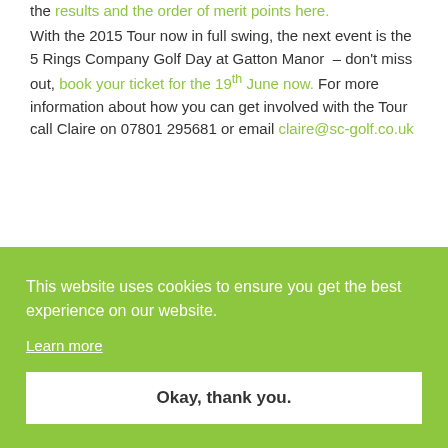the results and the order of merit points here.
With the 2015 Tour now in full swing, the next event is the 5 Rings Company Golf Day at Gatton Manor – don't miss out, book your ticket for the 19th June now. For more information about how you can get involved with the Tour call Claire on 07801 295681 or email claire@sc-golf.co.uk
This website uses cookies to ensure you get the best experience on our website.
Learn more
Okay, thank you.